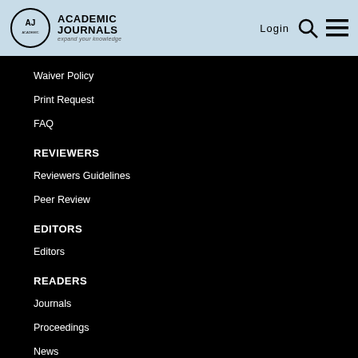[Figure (logo): Academic Journals logo with circular AJ emblem and tagline 'expand your knowledge']
Login
Waiver Policy
Print Request
FAQ
REVIEWERS
Reviewers Guidelines
Peer Review
EDITORS
Editors
READERS
Journals
Proceedings
News